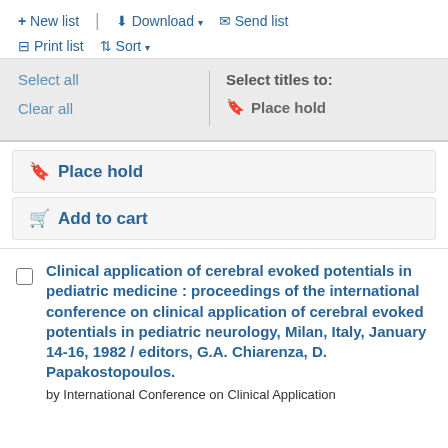+ New list | Download ▼ Send list
Print list ⇅ Sort ▼
Select all | Select titles to: Place hold
Clear all
Place hold
Add to cart
Clinical application of cerebral evoked potentials in pediatric medicine : proceedings of the international conference on clinical application of cerebral evoked potentials in pediatric neurology, Milan, Italy, January 14-16, 1982 / editors, G.A. Chiarenza, D. Papakostopoulos.
by International Conference on Clinical Application